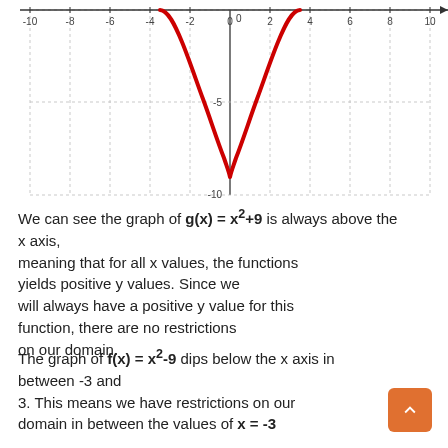[Figure (continuous-plot): Graph of g(x) = x^2+9 (upward parabola in red) on a coordinate grid with x-axis from -10 to 10 and y-axis showing -10 to 0. The parabola vertex is near (0,-9) relative to the visible crop, with dashed gridlines. The curve is always above y=0 in the visible frame (the bottom of the curve shows around y=-10).]
We can see the graph of g(x) = x²+9 is always above the x axis, meaning that for all x values, the functions yields positive y values. Since we will always have a positive y value for this function, there are no restrictions on our domain.
The graph of f(x) = x²-9 dips below the x axis in between -3 and 3. This means we have restrictions on our domain in between the values of x = -3